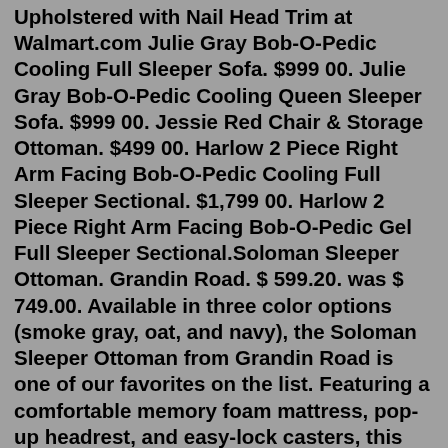Upholstered with Nail Head Trim at Walmart.com Julie Gray Bob-O-Pedic Cooling Full Sleeper Sofa. $999 00. Julie Gray Bob-O-Pedic Cooling Queen Sleeper Sofa. $999 00. Jessie Red Chair & Storage Ottoman. $499 00. Harlow 2 Piece Right Arm Facing Bob-O-Pedic Cooling Full Sleeper Sectional. $1,799 00. Harlow 2 Piece Right Arm Facing Bob-O-Pedic Gel Full Sleeper Sectional.Soloman Sleeper Ottoman. Grandin Road. $ 599.20. was $ 749.00. Available in three color options (smoke gray, oat, and navy), the Soloman Sleeper Ottoman from Grandin Road is one of our favorites on the list. Featuring a comfortable memory foam mattress, pop-up headrest, and easy-lock casters, this faux leather sleeper ottoman is the perfect ...Our customizable Briar sleeper sectional delivers comfort, style and function at a price point sure to wow the design-savvy shopper. If any piece says Mid-century perfection, it's the Briar sleeper sectional. And, with endless customization options, you can add your own creative spin to make it perfectly you.The Oxford Pop-up Platform sleeper